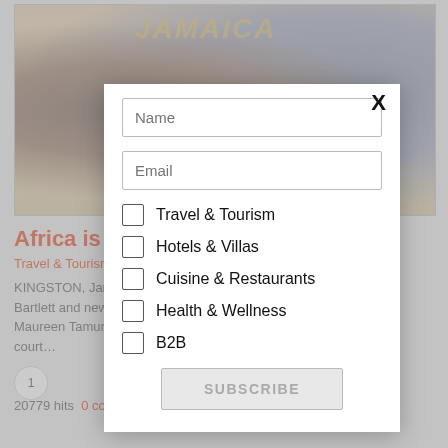[Figure (photo): Two people wearing face masks, one in colorful African print clothing with head wrap, the other in a grey suit, facing each other. A 'JAMAICA' sign is visible in the background.]
Africa is the N... ...Bartlett
Travel & Tourism
KINGSTON, Jama... ...on. Edmund Bartlett and newly... ...er to Jamaica, Maureen Tamuno... ...s she paid a court...
20779 hits   0 comments   Read More
[Figure (screenshot): Modal subscription form with Name and Email input fields, checkboxes for Travel & Tourism, Hotels & Villas, Cuisine & Restaurants, Health & Wellness, B2B, a SUBSCRIBE button, and an X close button.]